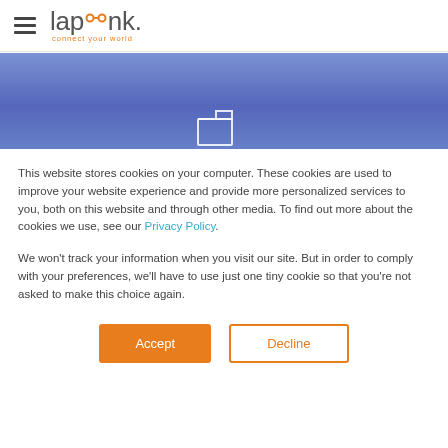laplink. connect your world
[Figure (illustration): Blue gradient banner background with partial white truck/file icon visible at bottom center]
This website stores cookies on your computer. These cookies are used to improve your website experience and provide more personalized services to you, both on this website and through other media. To find out more about the cookies we use, see our Privacy Policy.
We won't track your information when you visit our site. But in order to comply with your preferences, we'll have to use just one tiny cookie so that you're not asked to make this choice again.